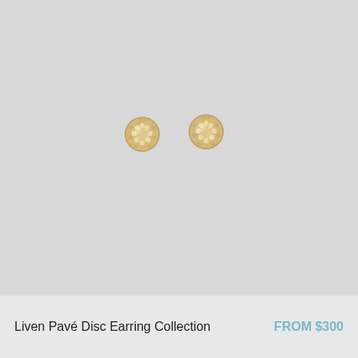[Figure (photo): Two small round gold pavé disc stud earrings with diamond-set surfaces, photographed on a light gray background. The earrings are positioned side by side near the center-upper area of the image.]
Liven Pavé Disc Earring Collection
FROM $300